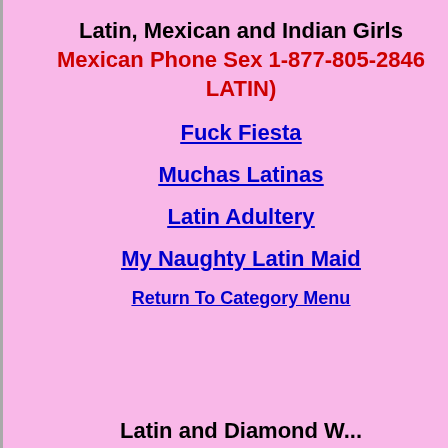Latin, Mexican and Indian Girls
Mexican Phone Sex 1-877-805-2846 LATIN)
Fuck Fiesta
Muchas Latinas
Latin Adultery
My Naughty Latin Maid
Return To Category Menu
Latin and Diamond W...